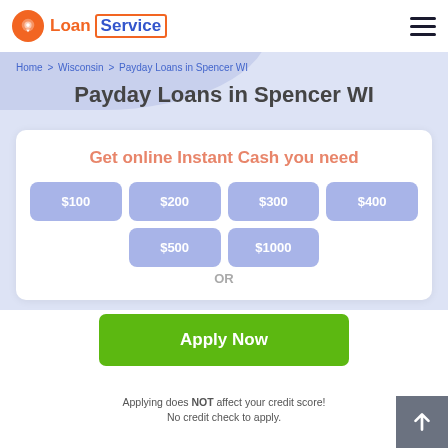Loan Service
Home > Wisconsin > Payday Loans in Spencer WI
Payday Loans in Spencer WI
Get online Instant Cash you need
$100
$200
$300
$400
$500
$1000
Apply Now
Applying does NOT affect your credit score!
No credit check to apply.